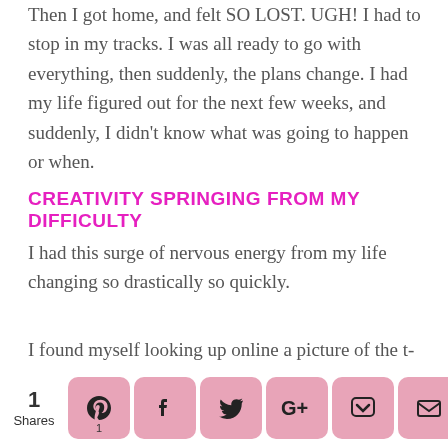Then I got home, and felt SO LOST. UGH! I had to stop in my tracks. I was all ready to go with everything, then suddenly, the plans change. I had my life figured out for the next few weeks, and suddenly, I didn't know what was going to happen or when.
CREATIVITY SPRINGING FROM MY DIFFICULTY
I had this surge of nervous energy from my life changing so drastically so quickly.
I found myself looking up online a picture of the t-shirt I saw, and I started drawing this beautiful girl with the wolf headdress and rose.
1 Shares [social share icons: Pinterest 1, Facebook, Twitter, Google+, Pocket, Email, RSS]